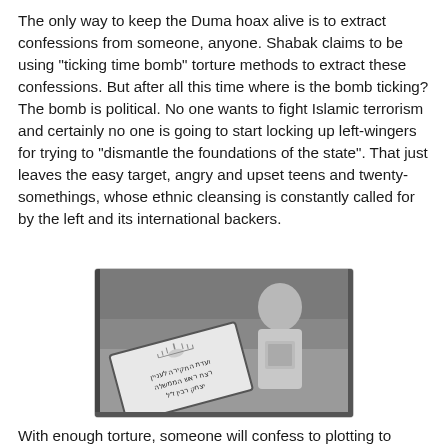The only way to keep the Duma hoax alive is to extract confessions from someone, anyone. Shabak claims to be using "ticking time bomb" torture methods to extract these confessions. But after all this time where is the bomb ticking? The bomb is political. No one wants to fight Islamic terrorism and certainly no one is going to start locking up left-wingers for trying to "dismantle the foundations of the state". That just leaves the easy target, angry and upset teens and twenty-somethings, whose ethnic cleansing is constantly called for by the left and its international backers.
[Figure (photo): A black and white photograph showing a person wearing a white t-shirt, with a document or sign in the foreground containing Hebrew text. The sign appears to be an official Israeli government committee document.]
With enough torture, someone will confess to plotting to appoint a king, setting all of Duma on fire and even photoshopping Rivlin in a Nazi uniform. The center-right will